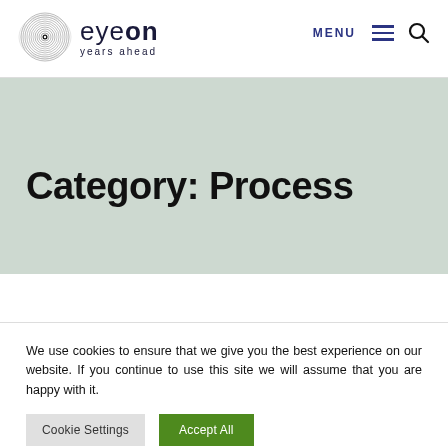eyeon years ahead — MENU navigation and search
Category: Process
We use cookies to ensure that we give you the best experience on our website. If you continue to use this site we will assume that you are happy with it.
Cookie Settings
Accept All